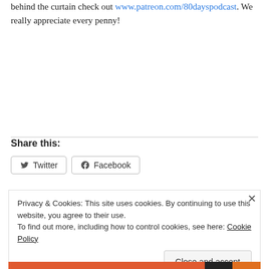behind the curtain check out www.patreon.com/80dayspodcast. We really appreciate every penny!
Share this:
Twitter Facebook
Privacy & Cookies: This site uses cookies. By continuing to use this website, you agree to their use.
To find out more, including how to control cookies, see here: Cookie Policy
Close and accept